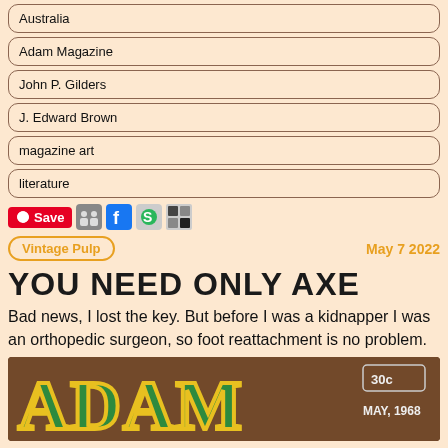Australia
Adam Magazine
John P. Gilders
J. Edward Brown
magazine art
literature
Save [social icons]
Vintage Pulp  |  May 7 2022
YOU NEED ONLY AXE
Bad news, I lost the key. But before I was a kidnapper I was an orthopedic surgeon, so foot reattachment is no problem.
[Figure (photo): Cover of Adam Magazine May 1968 showing large yellow-outlined green letters 'ADAM' and a price tag of 30c]